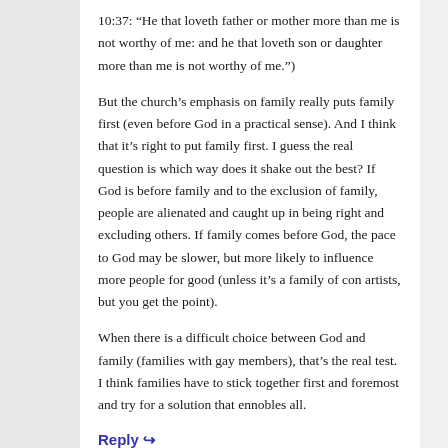10:37: “He that loveth father or mother more than me is not worthy of me: and he that loveth son or daughter more than me is not worthy of me.”)
But the church’s emphasis on family really puts family first (even before God in a practical sense). And I think that it’s right to put family first. I guess the real question is which way does it shake out the best? If God is before family and to the exclusion of family, people are alienated and caught up in being right and excluding others. If family comes before God, the pace to God may be slower, but more likely to influence more people for good (unless it’s a family of con artists, but you get the point).
When there is a difficult choice between God and family (families with gay members), that’s the real test. I think families have to stick together first and foremost and try for a solution that ennobles all.
Reply →